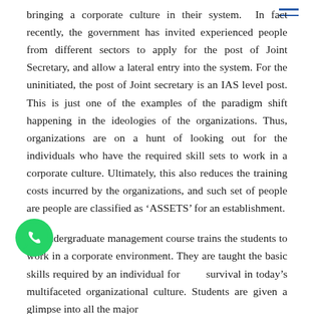bringing a corporate culture in their system.  In fact recently, the government has invited experienced people from different sectors to apply for the post of Joint Secretary, and allow a lateral entry into the system. For the uninitiated, the post of Joint secretary is an IAS level post. This is just one of the examples of the paradigm shift happening in the ideologies of the organizations. Thus, organizations are on a hunt of looking out for the individuals who have the required skill sets to work in a corporate culture. Ultimately, this also reduces the training costs incurred by the organizations, and such set of people are people are classified as 'ASSETS' for an establishment.

An undergraduate management course trains the students to work in a corporate environment. They are taught the basic skills required by an individual for survival in today's multifaceted organizational culture. Students are given a glimpse into all the major
[Figure (logo): WhatsApp green phone icon]